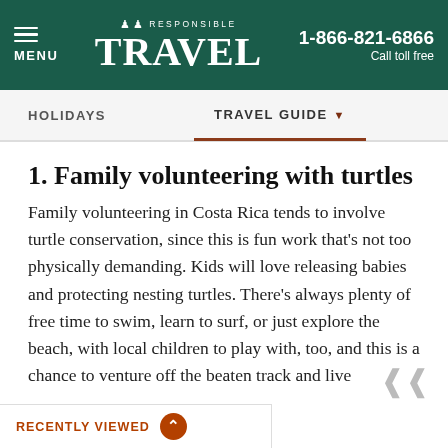≡ MENU | Responsible Travel | 1-866-821-6866 Call toll free
HOLIDAYS | TRAVEL GUIDE
1. Family volunteering with turtles
Family volunteering in Costa Rica tends to involve turtle conservation, since this is fun work that's not too physically demanding. Kids will love releasing babies and protecting nesting turtles. There's always plenty of free time to swim, learn to surf, or just explore the beach, with local children to play with, too, and this is a chance to venture off the beaten track and live
RECENTLY VIEWED